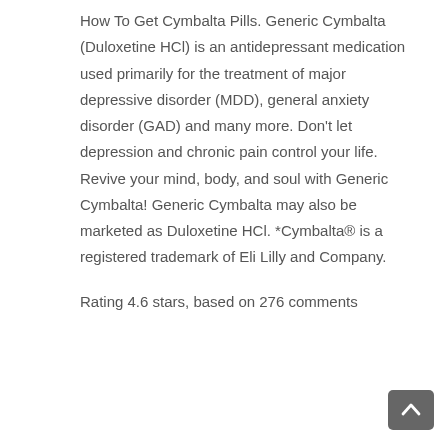How To Get Cymbalta Pills. Generic Cymbalta (Duloxetine HCl) is an antidepressant medication used primarily for the treatment of major depressive disorder (MDD), general anxiety disorder (GAD) and many more. Don't let depression and chronic pain control your life. Revive your mind, body, and soul with Generic Cymbalta! Generic Cymbalta may also be marketed as Duloxetine HCl. *Cymbalta® is a registered trademark of Eli Lilly and Company.
Rating 4.6 stars, based on 276 comments